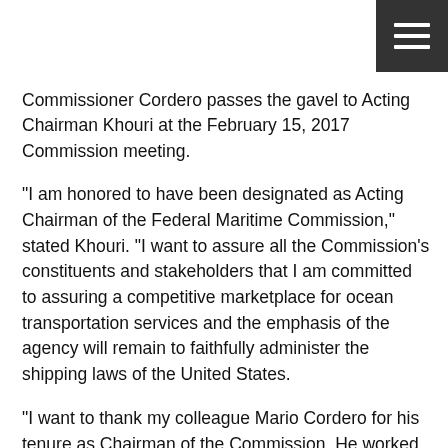[Figure (other): Hamburger menu icon (three horizontal white lines on dark grey/black square background) in top-right corner]
Commissioner Cordero passes the gavel to Acting Chairman Khouri at the February 15, 2017 Commission meeting.
“I am honored to have been designated as Acting Chairman of the Federal Maritime Commission,” stated Khouri. “I want to assure all the Commission’s constituents and stakeholders that I am committed to assuring a competitive marketplace for ocean transportation services and the emphasis of the agency will remain to faithfully administer the shipping laws of the United States.
“I want to thank my colleague Mario Cordero for his tenure as Chairman of the Commission. He worked diligently in that role and did many positive things for the agency. The Commission’s steady climb in the Partnership for Public Service’s annual Best Places to Work in the Federal Government rankings is testament to his efforts. Each of us